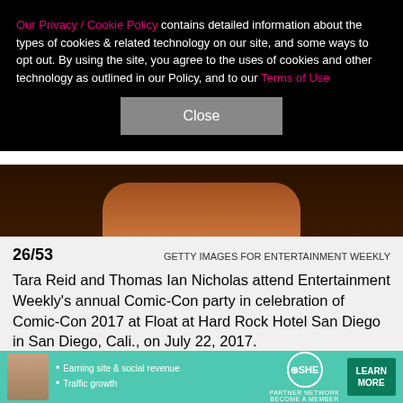Our Privacy / Cookie Policy contains detailed information about the types of cookies & related technology on our site, and some ways to opt out. By using the site, you agree to the uses of cookies and other technology as outlined in our Policy, and to our Terms of Use
[Figure (photo): Dark photo strip showing partial view of person at event]
26/53   GETTY IMAGES FOR ENTERTAINMENT WEEKLY
Tara Reid and Thomas Ian Nicholas attend Entertainment Weekly's annual Comic-Con party in celebration of Comic-Con 2017 at Float at Hard Rock Hotel San Diego in San Diego, Cali., on July 22, 2017.
[Figure (photo): The Defenders logo/banner image in dark background]
[Figure (screenshot): SHE Partner Network advertisement banner with learn more button]